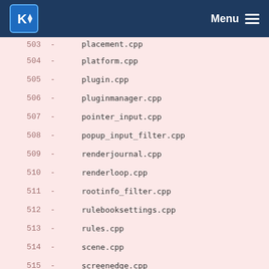KDE Menu
503    -    placement.cpp
504    -    platform.cpp
505    -    plugin.cpp
506    -    pluginmanager.cpp
507    -    pointer_input.cpp
508    -    popup_input_filter.cpp
509    -    renderjournal.cpp
510    -    renderloop.cpp
511    -    rootinfo_filter.cpp
512    -    rulebooksettings.cpp
513    -    rules.cpp
514    -    scene.cpp
515    -    screenedge.cpp
516    -    screenlockerwatcher.cpp
517    -    screens.cpp
518    -    scripting/dbuscall.cpp
519    -    scripting/meta.cpp
520    -    scripting/screenedgeitem.cpp
521    -    scripting/scriptedeffect.cpp
522    -    scripting/scripting.cpp